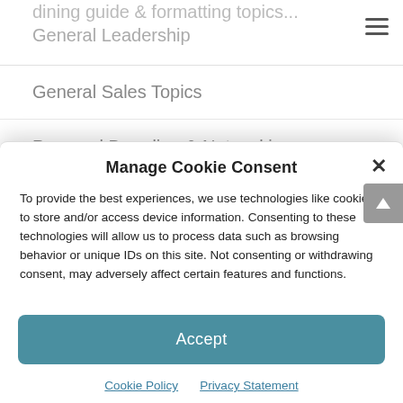General Leadership
General Sales Topics
Personal Branding & Networking
Professional Skill Development
Prospecting
Qualification
Manage Cookie Consent
To provide the best experiences, we use technologies like cookies to store and/or access device information. Consenting to these technologies will allow us to process data such as browsing behavior or unique IDs on this site. Not consenting or withdrawing consent, may adversely affect certain features and functions.
Accept
Cookie Policy  Privacy Statement